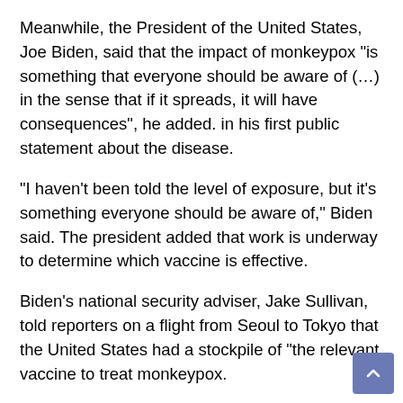Meanwhile, the President of the United States, Joe Biden, said that the impact of monkeypox “is something that everyone should be aware of (…) in the sense that if it spreads, it will have consequences”, he added. in his first public statement about the disease.
“I haven’t been told the level of exposure, but it’s something everyone should be aware of,” Biden said. The president added that work is underway to determine which vaccine is effective.
Biden’s national security adviser, Jake Sullivan, told reporters on a flight from Seoul to Tokyo that the United States had a stockpile of “the relevant vaccine to treat monkeypox.
“We have a vaccine available to use for that purpose.” Sullivan also emphasized that Biden was kept well informed about the developments of the outbreak.
Monkeypox is rarely identified outside of Africa, but as o